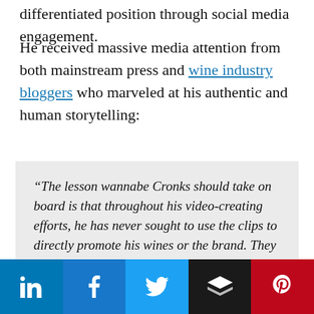differentiated position through social media engagement.
He received massive media attention from both mainstream press and wine industry bloggers who marveled at his authentic and human storytelling:
“The lesson wannabe Cronks should take on board is that throughout his video-creating efforts, he has never sought to use the clips to directly promote his wines or the brand. They are all intended to be interesting in their own terms and often contain no direct reference to the brand at all. People who watch them are merely invited to visit the website if they want to know more”